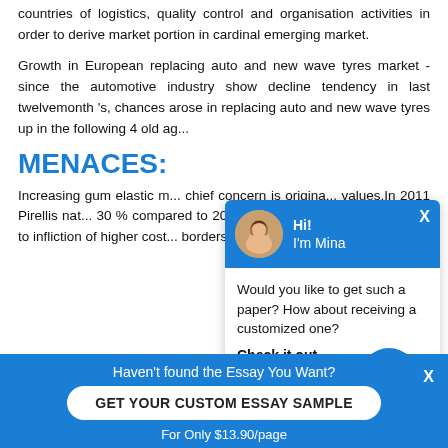countries of logistics, quality control and organisation activities in order to derive market portion in cardinal emerging market.
Growth in European replacing auto and new wave tyres market -since the automotive industry show decline tendency in last twelvemonth 's, chances arose in replacing auto and new wave tyres up in the following 4 old ag...
MENACES:
Increasing gum elastic m... chief concern is origina... values.In 2011 Pirellis nat... 30 % compared to 2010... difficulty in pull offing the d... to infliction of higher cost... borders.
[Figure (screenshot): Chat popup with avatar of woman named Mina, blue header, body text: Would you like to get such a paper? How about receiving a customized one? Check it out]
Haven't found the Essay You Want?
GET YOUR CUSTOM ESSAY SAMPLE
For Only $13.90/page